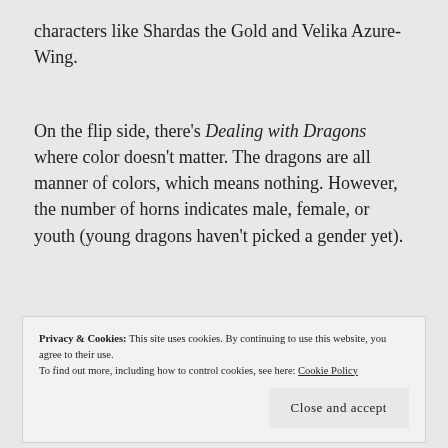characters like Shardas the Gold and Velika Azure-Wing.
On the flip side, there's Dealing with Dragons where color doesn't matter. The dragons are all manner of colors, which means nothing. However, the number of horns indicates male, female, or youth (young dragons haven't picked a gender yet).
Privacy & Cookies: This site uses cookies. By continuing to use this website, you agree to their use.
To find out more, including how to control cookies, see here: Cookie Policy
Close and accept